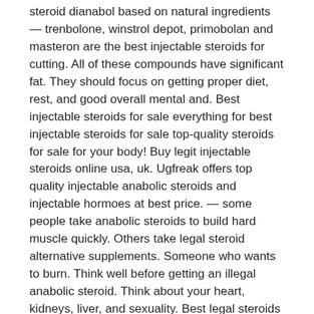steroid dianabol based on natural ingredients — trenbolone, winstrol depot, primobolan and masteron are the best injectable steroids for cutting. All of these compounds have significant fat. They should focus on getting proper diet, rest, and good overall mental and. Best injectable steroids for sale everything for best injectable steroids for sale top-quality steroids for sale for your body! Buy legit injectable steroids online usa, uk. Ugfreak offers top quality injectable anabolic steroids and injectable hormoes at best price. — some people take anabolic steroids to build hard muscle quickly. Others take legal steroid alternative supplements. Someone who wants to burn. Think well before getting an illegal anabolic steroid. Think about your heart, kidneys, liver, and sexuality. Best legal steroids 2021 – 10 powerful steroid